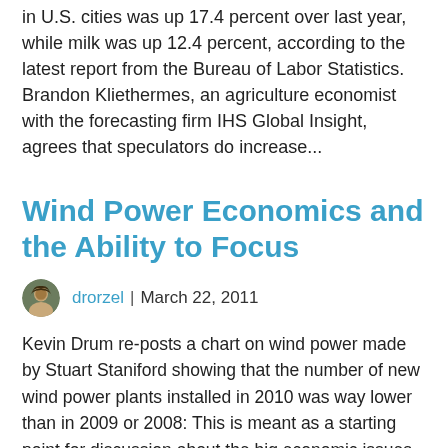in U.S. cities was up 17.4 percent over last year, while milk was up 12.4 percent, according to the latest report from the Bureau of Labor Statistics. Brandon Kliethermes, an agriculture economist with the forecasting firm IHS Global Insight, agrees that speculators do increase...
Wind Power Economics and the Ability to Focus
drorzel | March 22, 2011
Kevin Drum re-posts a chart on wind power made by Stuart Staniford showing that the number of new wind power plants installed in 2010 was way lower than in 2009 or 2008: This is meant as a starting point for discussion about the big economic issues that might've caused this. One of the many, many reasons I'll never make it as a political pundit, though, is that when I see a graph like this, I'm inexorably drawn to speculating about aspects of it that really have nothing to do with the intended point. In this particular case, I look at this graphic and ask myself "Why are there so many wind...